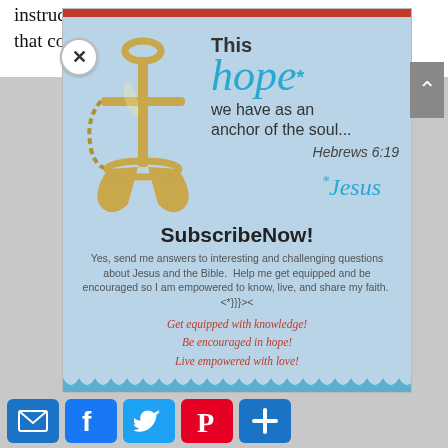instruction in the book is about gaining wisdom and that comes from the “fear of the Lord.”
[Figure (infographic): Popup advertisement with anchor graphic. Text reads: 'This hope* we have as an anchor of the soul... Hebrews 6:19' and '*Jesus']
SubscribeNow!
Yes, send me answers to interesting and challenging questions about Jesus and the Bible. Help me get equipped and be encouraged so I am empowered to know, live, and share my faith. <*}}}><
Get equipped with knowledge! Be encouraged in hope! Live empowered with love!